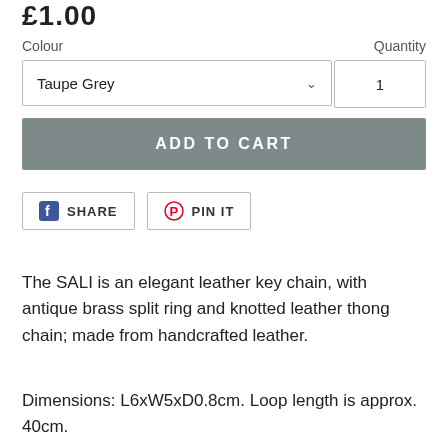£1.00
Colour
Quantity
Taupe Grey
1
ADD TO CART
[Figure (other): Facebook Share button and Pinterest Pin It button]
The SALI is an elegant leather key chain, with antique brass split ring and knotted leather thong chain; made from handcrafted leather.
Dimensions: L6xW5xD0.8cm. Loop length is approx. 40cm.